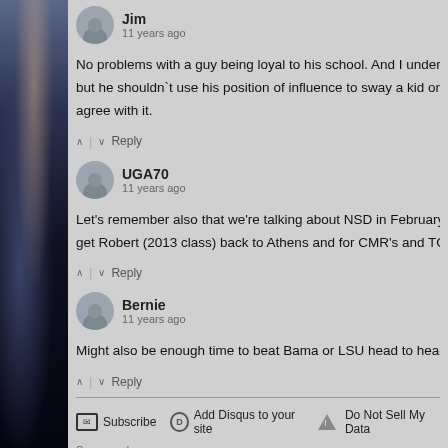Jim
11 years ago
No problems with a guy being loyal to his school.  And I understand a but he shouldn`t use his position of influence to sway a kid on way o agree with it.
Reply
UGA70
11 years ago
Let's remember also that we're talking about NSD in February, 2013, get Robert (2013 class) back to Athens and for CMR's and TG's to us
Reply
Bernie
11 years ago
Might also be enough time to beat Bama or LSU head to head. Not to
Reply
Subscribe  Add Disqus to your site  Do Not Sell My Data
Sponsored